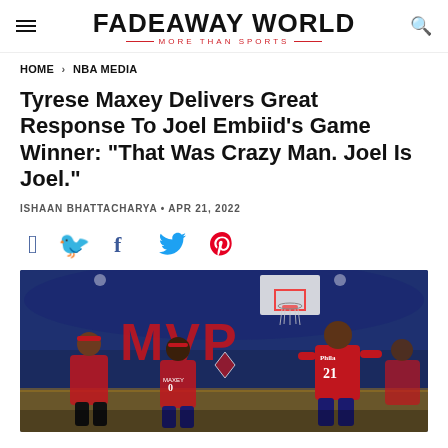FADEAWAY WORLD — MORE THAN SPORTS
HOME > NBA MEDIA
Tyrese Maxey Delivers Great Response To Joel Embiid's Game Winner: "That Was Crazy Man. Joel Is Joel."
ISHAAN BHATTACHARYA • APR 21, 2022
[Figure (other): Social share icons: Facebook, Twitter, Pinterest]
[Figure (photo): Basketball players on court with MVP sign in background; player wearing #21 Philadelphia 76ers jersey (Joel Embiid) with Toronto Raptors players nearby]